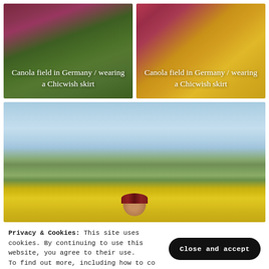[Figure (photo): Top-left thumbnail: Woman in red/maroon dress in a canola field in Germany. Green and pink tones.]
Canola field in Germany / wearing a Chicwish skirt
[Figure (photo): Top-right thumbnail: Woman in red/maroon dress in a canola field in Germany. Yellow and warm tones.]
Canola field in Germany / wearing a Chicwish skirt
[Figure (photo): Large main photo: Woman standing in a canola field in Germany with rolling hills and blue sky in background. Woman has dark hair with a floral headband, partially visible above yellow canola flowers.]
Privacy & Cookies: This site uses cookies. By continuing to use this website, you agree to their use.
To find out more, including how to co
Cookie Policy
[Figure (photo): Bottom strip: Bottom edge of another canola field photo, yellow flowers visible.]